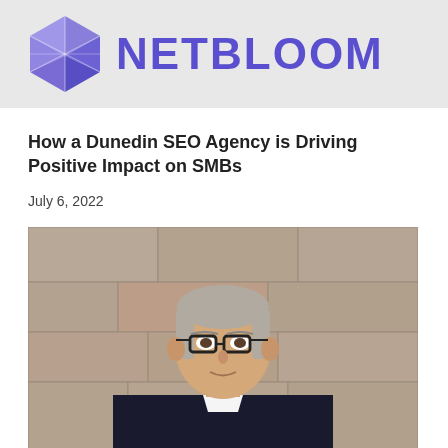[Figure (logo): Netbloom logo: geometric purple hexagonal/diamond icon with the text NETBLOOM in bold purple letters on a light grey background banner]
How a Dunedin SEO Agency is Driving Positive Impact on SMBs
July 6, 2022
[Figure (photo): Professional headshot of a middle-aged man with grey hair and black-rimmed glasses, wearing a dark suit and white shirt, posed in front of a stone wall background]